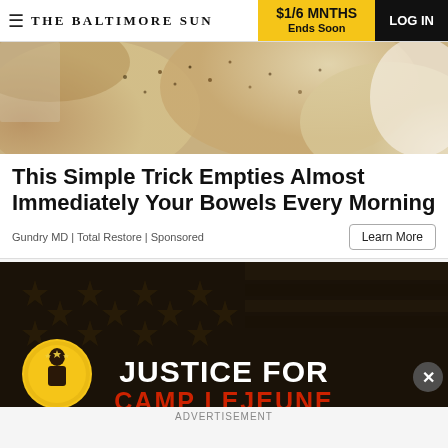THE BALTIMORE SUN | $1/6 MNTHS Ends Soon | LOG IN
[Figure (photo): Close-up photo of crackers or chips with seasoning/spices on them, light beige and golden tones]
This Simple Trick Empties Almost Immediately Your Bowels Every Morning
Gundry MD | Total Restore | Sponsored
Learn More
[Figure (photo): Advertisement banner with dark background featuring American flag with stars, yellow circular logo with soldier, text reading JUSTICE FOR CAMP LEJEUNE in white and red, with close X button]
ADVERTISEMENT